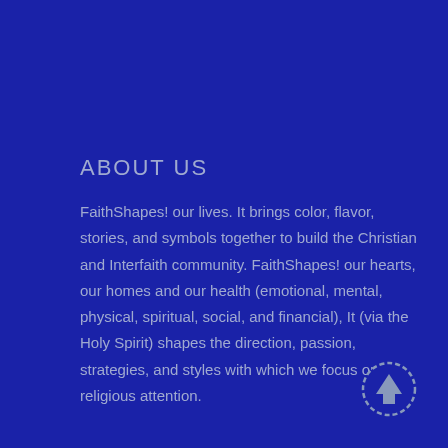ABOUT US
FaithShapes! our lives. It brings color, flavor, stories, and symbols together to build the Christian and Interfaith community. FaithShapes! our hearts, our homes and our health (emotional, mental, physical, spiritual, social, and financial), It (via the Holy Spirit) shapes the direction, passion, strategies, and styles with which we focus our religious attention.
[Figure (other): Circular scroll-up button with dashed border and upward arrow, gray on dark blue background]